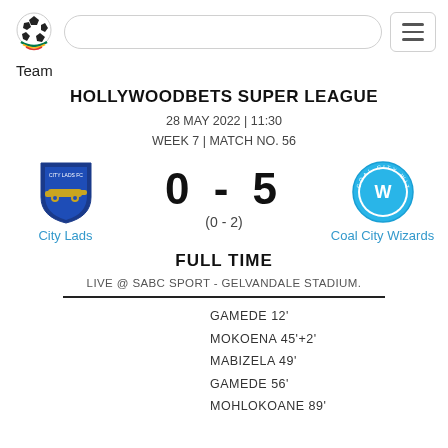Team
HOLLYWOODBETS SUPER LEAGUE
28 MAY 2022 | 11:30
WEEK 7 | MATCH NO. 56
[Figure (logo): City Lads team crest - blue shield with cannon]
0 - 5
(0 - 2)
[Figure (logo): Coal City Wizards team badge - circular blue logo]
City Lads
Coal City Wizards
FULL TIME
LIVE @ SABC SPORT - GELVANDALE STADIUM.
GAMEDE 12'
MOKOENA 45'+2'
MABIZELA 49'
GAMEDE 56'
MOHLOKOANE 89'